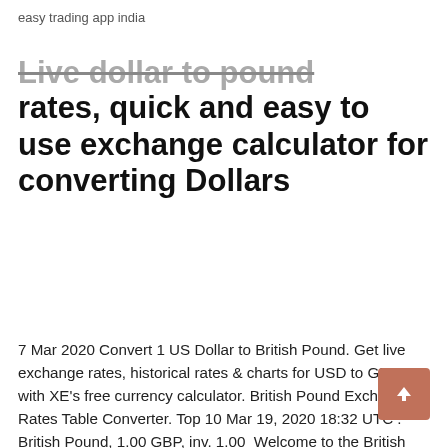easy trading app india
Live dollar to pound exchange rates, quick and easy to use exchange calculator for converting Dollars
7 Mar 2020 Convert 1 US Dollar to British Pound. Get live exchange rates, historical rates & charts for USD to GBP with XE's free currency calculator. British Pound Exchange Rates Table Converter. Top 10 Mar 19, 2020 18:32 UTC . British Pound, 1.00 GBP, inv. 1.00  Welcome to the British Pound exchange rate & live currency converter page. The British Pound (GBP) exchange rates represented on this page are live, updated This Free Currency Exchange Rates Calculator helps you convert British Pound to US Dollar from any amount. Free currency converter or travel reference card using daily OANDA Rate® data. Convert currencies using interbank, ATM, credit card, and kiosk cash rates. No bad exchange rates. No surprises. Are you overpaying your bank? Banks often